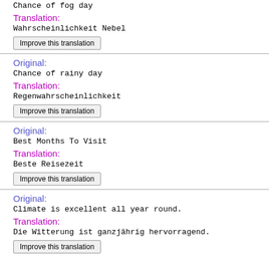Chance of fog day
Translation:
Wahrscheinlichkeit Nebel
Improve this translation
Original:
Chance of rainy day
Translation:
Regenwahrscheinlichkeit
Improve this translation
Original:
Best Months To Visit
Translation:
Beste Reisezeit
Improve this translation
Original:
Climate is excellent all year round.
Translation:
Die Witterung ist ganzjährig hervorragend.
Improve this translation